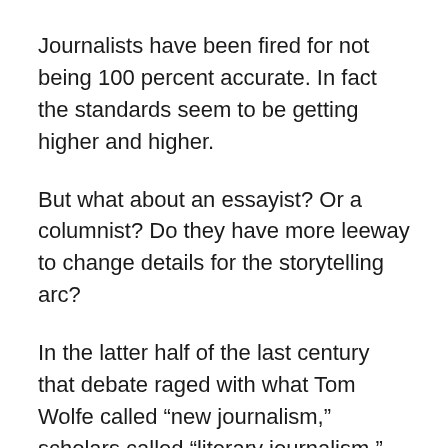Journalists have been fired for not being 100 percent accurate. In fact the standards seem to be getting higher and higher.
But what about an essayist? Or a columnist? Do they have more leeway to change details for the storytelling arc?
In the latter half of the last century that debate raged with what Tom Wolfe called “new journalism,” scholars called “literary journalism,” and Truman Capote referred to his book In Cold Blood, as a “nonfiction novel.”
At the core of The Lifespan of a Fact is all of these issues. John, played wonderfully by Bobby Cannavale, is